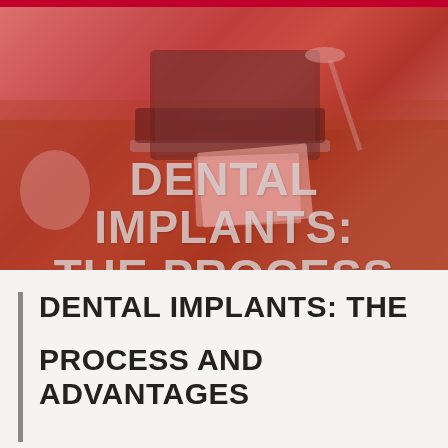[Figure (photo): Photo of a desk with a laptop computer, papers/documents, and a lamp, overlaid with a red/pink color tint. Large overlay text reads 'DENTAL IMPLANTS: THE PROCESS AND ADVANTAGES' in a heavy blocky font.]
DENTAL IMPLANTS: THE PROCESS AND ADVANTAGES